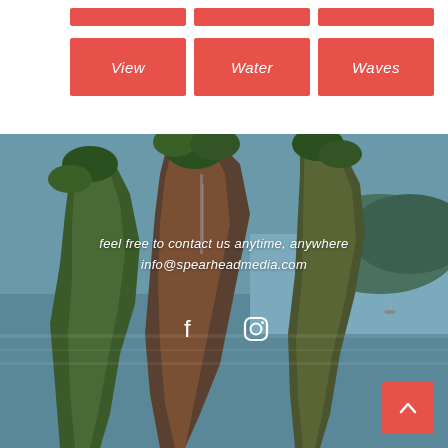View
Water
Waves
[Figure (photo): Aerial/drone photo of dramatic limestone karst cliffs covered in green jungle vegetation, with teal-blue water and sky in background, resembling Phang Nga Bay Thailand]
feel free to contact us anytime, anywhere
info@spearheadmedia.com
[Figure (other): Facebook and Instagram social media icons in white]
Back to top button (chevron up arrow)